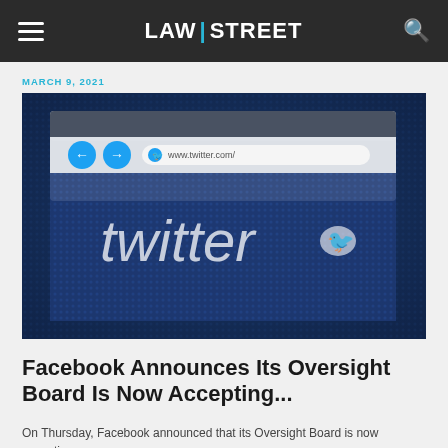LAW|STREET
MARCH 9, 2021
[Figure (photo): Close-up photograph of a computer screen displaying the Twitter website (www.twitter.com/) with the Twitter logo and bird icon visible, set against a dark blue dotted background.]
Facebook Announces Its Oversight Board Is Now Accepting...
On Thursday, Facebook announced that its Oversight Board is now accepting cases.